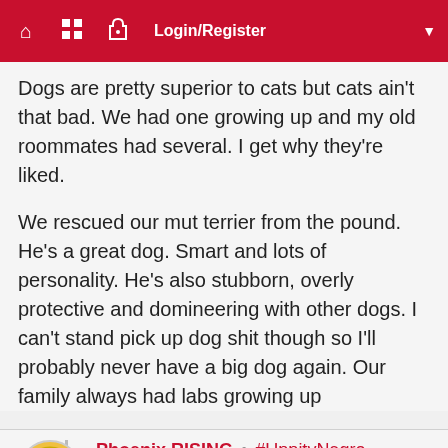Login/Register
Dogs are pretty superior to cats but cats ain't that bad. We had one growing up and my old roommates had several. I get why they're liked.
We rescued our mut terrier from the pound. He's a great dog. Smart and lots of personality. He's also stubborn, overly protective and domineering with other dogs. I can't stand pick up dog shit though so I'll probably never have a big dog again. Our family always had labs growing up
Phoenix RISING • #UppityNegro
MAR 07, 2017 04:00 PM
Was thinking about getting a cat, but there are only two ragdolls in the entire state of Michigan.
Want a ragdoll or a maine coon because they are similar to